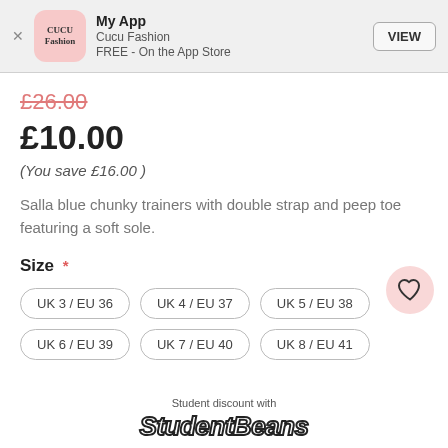[Figure (screenshot): CUCU Fashion app banner with app icon, name 'My App', subtitle 'Cucu Fashion', 'FREE - On the App Store', and a VIEW button]
£26.00 (strikethrough) £10.00 (You save £16.00)
Salla blue chunky trainers with double strap and peep toe featuring a soft sole.
Size *
UK 3 / EU 36
UK 4 / EU 37
UK 5 / EU 38
UK 6 / EU 39
UK 7 / EU 40
UK 8 / EU 41
Student discount with StudentBeans